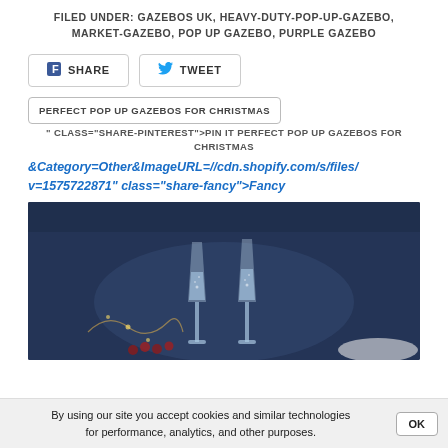FILED UNDER: GAZEBOS UK, HEAVY-DUTY-POP-UP-GAZEBO, MARKET-GAZEBO, POP UP GAZEBO, PURPLE GAZEBO
SHARE  TWEET
PERFECT POP UP GAZEBOS FOR CHRISTMAS
" CLASS="SHARE-PINTEREST">PIN IT PERFECT POP UP GAZEBOS FOR CHRISTMAS
&Category=Other&ImageURL=//cdn.shopify.com/s/files/ v=1575722871" class="share-fancy">Fancy
[Figure (photo): Two champagne flutes on a dark blue background with holiday decorations and berries]
By using our site you accept cookies and similar technologies for performance, analytics, and other purposes.